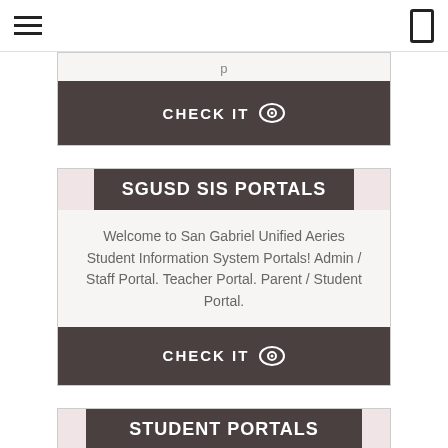Navigation bar with hamburger menu and phone icon
CHECK IT
SGUSD SIS PORTALS
Welcome to San Gabriel Unified Aeries Student Information System Portals! Admin / Staff Portal. Teacher Portal. Parent / Student Portal.
CHECK IT
STUDENT PORTALS